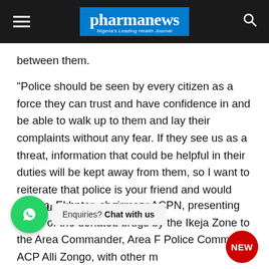pharmanews — Nigeria's Leading Health Journal
between them.
“Police should be seen by every citizen as a force they can trust and have confidence in and be able to walk up to them and lay their complaints without any fear. If they see us as a threat, information that could be helpful in their duties will be kept away from them, so I want to reiterate that police is your friend and would continue to be your friend.”
Pharm. Ekhator, chairman, ACPN, presenting some of the donated drugs by the Ikeja Zone to the Area Commander, Area F Police Command, ACP Alli Zongo, with other m... of the...
[Figure (other): WhatsApp chat widget with green circle icon and bubble text: Enquiries? Chat with us]
[Figure (other): Red circular NEW badge in bottom right corner]